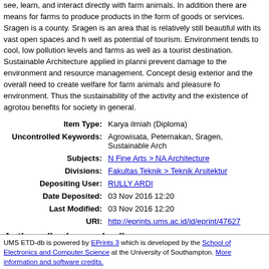see, learn, and interact directly with farm animals. In addition there are means for farms to produce products in the form of goods or services. Sragen is a county. Sragen is an area that is relatively still beautiful with its vast open spaces and h well as potential of tourism. Environment tends to cool, low pollution levels and farms as well as a tourist destination. Sustainable Architecture applied in planni prevent damage to the environment and resource management. Concept desig exterior and the overall need to create welfare for farm animals and pleasure fo environment. Thus the sustainability of the activity and the existence of agrotou benefits for society in general.
| Item Type: | Karya ilmiah (Diploma) |
| Uncontrolled Keywords: | Agrowisata, Peternakan, Sragen, Sustainable Arch |
| Subjects: | N Fine Arts > NA Architecture |
| Divisions: | Fakultas Teknik > Teknik Arsitektur |
| Depositing User: | RULLY ARDI |
| Date Deposited: | 03 Nov 2016 12:20 |
| Last Modified: | 03 Nov 2016 12:20 |
| URI: | http://eprints.ums.ac.id/id/eprint/47627 |
Actions (login required)
View Item
UMS ETD-db is powered by EPrints 3 which is developed by the School of Electronics and Computer Science at the University of Southampton. More information and software credits.